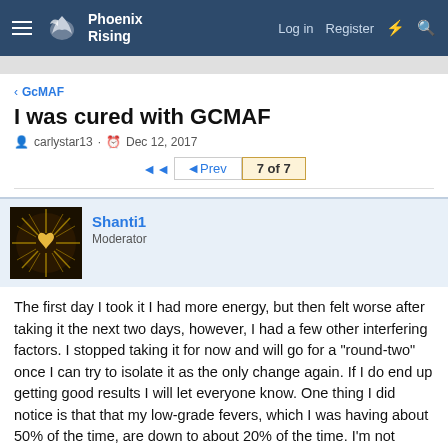Phoenix Rising — Log in  Register
GcMAF
I was cured with GCMAF
carlystar13 · Dec 12, 2017
◄◄  ◄ Prev  7 of 7
Shanti1
Moderator
The first day I took it I had more energy, but then felt worse after taking it the next two days, however, I had a few other interfering factors. I stopped taking it for now and will go for a "round-two" once I can try to isolate it as the only change again. If I do end up getting good results I will let everyone know. One thing I did notice is that that my low-grade fevers, which I was having about 50% of the time, are down to about 20% of the time. I'm not certain this is due to the gcMAF, but